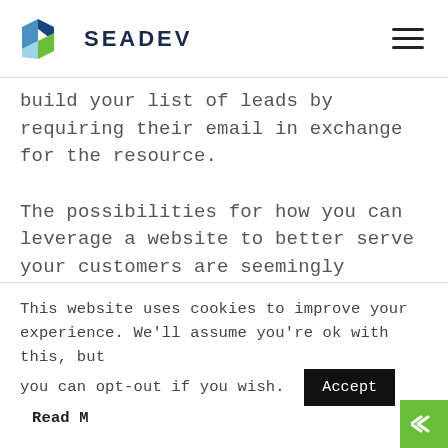[Figure (logo): SEADEV logo with a blue and green 3D arrow/box icon and the text SEADEV in dark navy bold letters]
build your list of leads by requiring their email in exchange for the resource.
The possibilities for how you can leverage a website to better serve your customers are seemingly endless. Put yourself in the shoes of your customer, go through the buying process as if you
This website uses cookies to improve your experience. We'll assume you're ok with this, but you can opt-out if you wish.  Accept  Read M